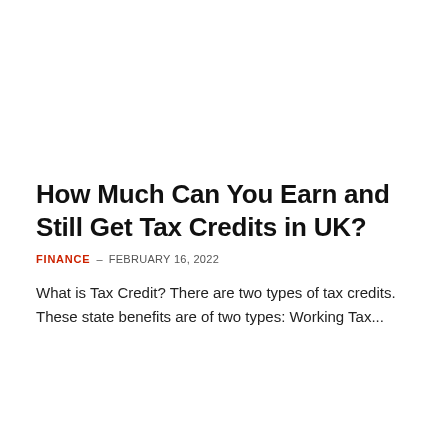How Much Can You Earn and Still Get Tax Credits in UK?
FINANCE – FEBRUARY 16, 2022
What is Tax Credit? There are two types of tax credits. These state benefits are of two types: Working Tax...